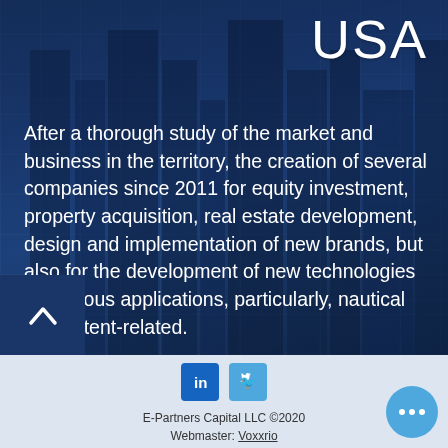[Figure (photo): Dark blue-toned photo of tall city skyscrapers/office buildings viewed from below, used as background]
USA
After a thorough study of the market and business in the territory, the creation of several companies since 2011 for equity investment, property acquisition, real estate development, design and implementation of new brands, but also for the development of new technologies for various applications, particularly, nautical and patent-related.
[Figure (logo): LinkedIn and Twitter social media icons]
E-Partners Capital LLC ©2020
Webmaster: Voxxrio